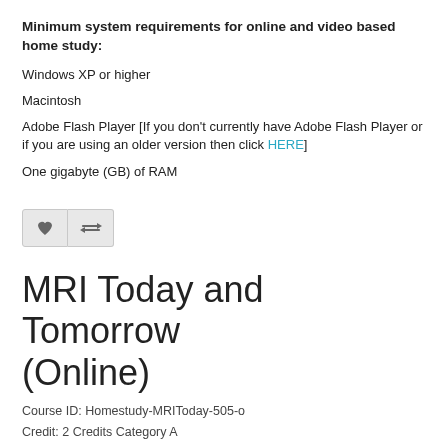Minimum system requirements for online and video based home study:
Windows XP or higher
Macintosh
Adobe Flash Player [If you don't currently have Adobe Flash Player or if you are using an older version then click HERE]
One gigabyte (GB) of RAM
[Figure (other): Two buttons: a heart/favorite button and a compare button]
MRI Today and Tomorrow (Online)
Course ID: Homestudy-MRIToday-505-o
Credit: 2 Credits Category A
Instructor: Stewart Bushong MD
Expiration Date: 01-31-2018
$39.95